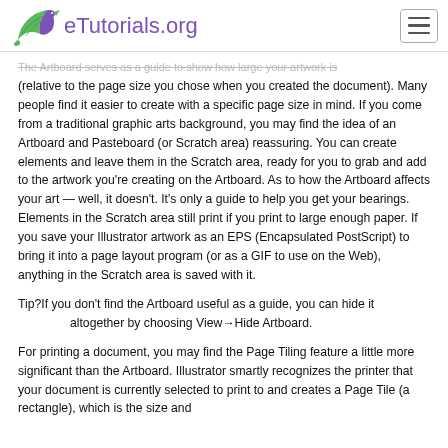eTutorials.org
The Artboard serves as a guide to show how large your artwork is (relative to the page size you chose when you created the document). Many people find it easier to create with a specific page size in mind. If you come from a traditional graphic arts background, you may find the idea of an Artboard and Pasteboard (or Scratch area) reassuring. You can create elements and leave them in the Scratch area, ready for you to grab and add to the artwork you're creating on the Artboard. As to how the Artboard affects your art — well, it doesn't. It's only a guide to help you get your bearings. Elements in the Scratch area still print if you print to large enough paper. If you save your Illustrator artwork as an EPS (Encapsulated PostScript) to bring it into a page layout program (or as a GIF to use on the Web), anything in the Scratch area is saved with it.
Tip?If you don't find the Artboard useful as a guide, you can hide it altogether by choosing View→Hide Artboard.
For printing a document, you may find the Page Tiling feature a little more significant than the Artboard. Illustrator smartly recognizes the printer that your document is currently selected to print to and creates a Page Tile (a rectangle), which is the size and